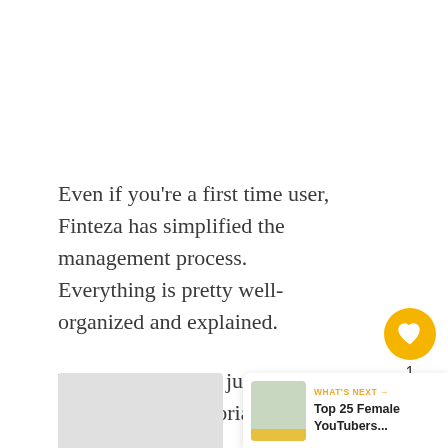Even if you're a first time user, Finteza has simplified the management process. Everything is pretty well-organized and explained.
You're likely to do just fine without even a tutorial.
[Figure (other): Floating UI widget with a gold heart button showing count of 1, and a share button below it]
[Figure (screenshot): What's Next widget showing 'WHAT'S NEXT →' label with 'Top 25 Female YouTubers...' title and a thumbnail image, plus a partially visible screenshot area]